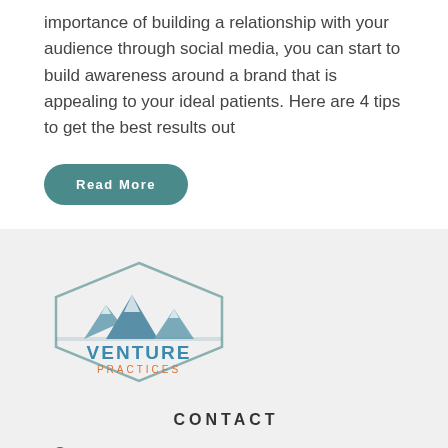importance of building a relationship with your audience through social media, you can start to build awareness around a brand that is appealing to your ideal patients. Here are 4 tips to get the best results out
Read More
[Figure (logo): Venture Practices logo: hexagon outline with mountain illustration, 'VENTURE' in blue and 'PRACTICES' in orange]
CONTACT
5416 Pepperdine Dr, Charlotte, NC, 28226
704-907-3586 (Call or Text)